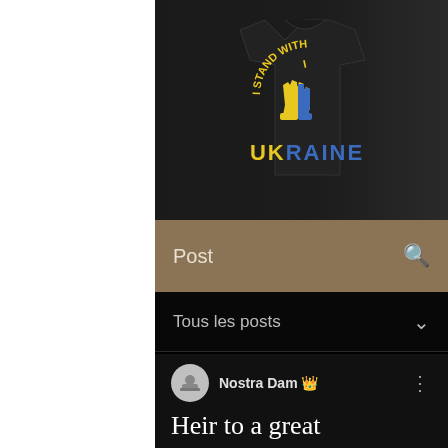[Figure (photo): A black t-shirt with 'I STAND WITH UKRAINE' graphic — yellow and blue fist design — photographed on a dark background with curved ripple texture on the right side]
Post
Tous les posts
Nostra Dam [crown icon]
Heir to a great Dynasty...